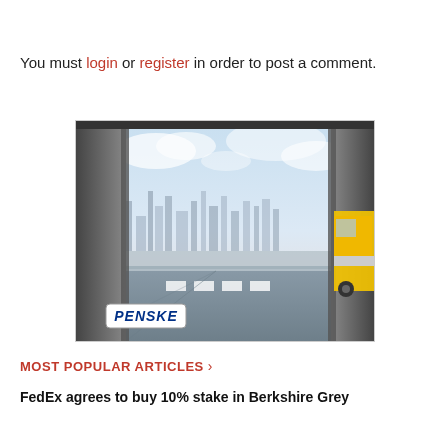You must login or register in order to post a comment.
[Figure (photo): Penske advertisement showing a city skyline viewed through a warehouse loading dock, with a yellow Penske truck visible on the right side. The Penske logo appears in a white box in the lower left corner.]
MOST POPULAR ARTICLES >
FedEx agrees to buy 10% stake in Berkshire Grey